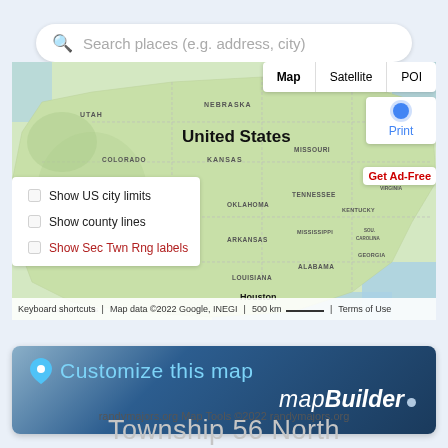[Figure (screenshot): Search bar with magnifying glass icon and placeholder text 'Search places (e.g. address, city)']
[Figure (map): Google Maps view of the United States showing states and labels including Nebraska, Utah, Colorado, Kansas, Missouri, Oklahoma, Arkansas, Mississippi, Louisiana, Alabama, Georgia, Tennessee, Kentucky, West Virginia, South Carolina. Map controls include Map/Satellite/POI tabs, Print button, location dot, Get Ad-Free link, and overlays including Show US city limits, Show county lines, Show Sec Twn Rng labels checkboxes. Map footer shows keyboard shortcuts, Map data ©2022 Google INEGI, 500 km scale, Terms of Use.]
[Figure (infographic): Dark blue gradient banner with location pin icon and text 'Customize this map' in light blue, and 'mapBuilder' in white italic with a small dot, indicating mapBuilder tool branding.]
randymajors.org Map Tools ©2022 randymajors.org
Township 56 North